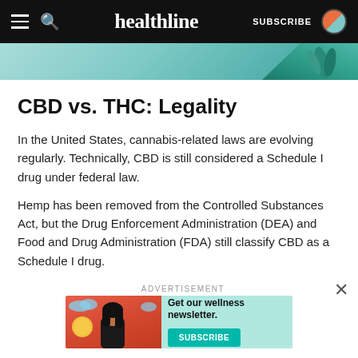healthline
[Figure (illustration): Partial hero image strip showing a teal/turquoise background with plant or decorative elements on the right side]
CBD vs. THC: Legality
In the United States, cannabis-related laws are evolving regularly. Technically, CBD is still considered a Schedule I drug under federal law.
Hemp has been removed from the Controlled Substances Act, but the Drug Enforcement Administration (DEA) and Food and Drug Administration (FDA) still classify CBD as a Schedule I drug.
ADVERTISEMENT
[Figure (illustration): Advertisement banner: Get our wellness newsletter. Subscribe button. Left side shows illustrated woman with dark hair against orange/red background with clouds. Right side is teal with text and subscribe button.]